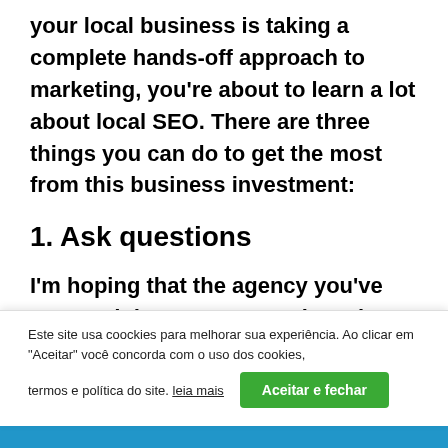your local business is taking a complete hands-off approach to marketing, you're about to learn a lot about local SEO. There are three things you can do to get the most from this business investment:
1. Ask questions
I'm hoping that the agency you've engaged doesn't communicate in jargon, but if they
Este site usa coockies para melhorar sua experiência. Ao clicar em "Aceitar" você concorda com o uso dos cookies, termos e política do site. leia mais